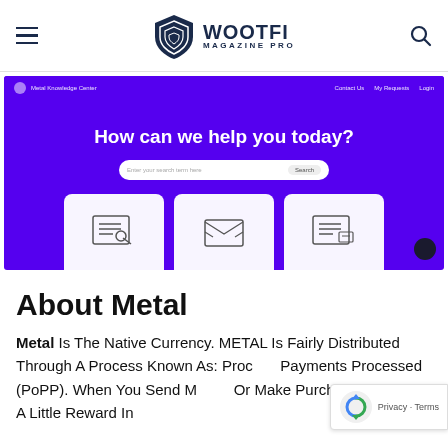WOOTFI MAGAZINE PRO
[Figure (screenshot): Screenshot of Metal Knowledge Center website with purple background, search bar reading 'How can we help you today?', and three card icons at bottom.]
About Metal
Metal Is The Native Currency. METAL Is Fairly Distributed Through A Process Known As: Proof Of Payments Processed (PoPP). When You Send Money Or Make Purchases You Earn A Little Reward In